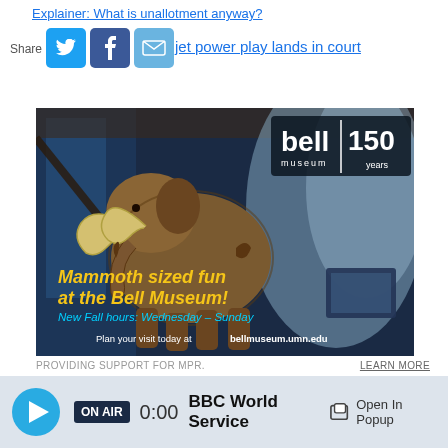Explainer: What is unallotment anyway?
Share
jet power play lands in court
[Figure (photo): Bell Museum advertisement featuring a woolly mammoth exhibit with text: 'Mammoth sized fun at the Bell Museum! New Fall hours: Wednesday–Sunday. Plan your visit today at bellmuseum.umn.edu'. Bell Museum 150 years logo in top right.]
PROVIDING SUPPORT FOR MPR.         LEARN MORE
Program Schedule   Station Directory
ON AIR  0:00  BBC World Service   Open In Popup